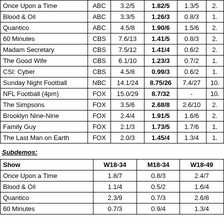| Show | Net | Total Viewers | A18-49 | A18-34 | A25-54 |
| --- | --- | --- | --- | --- | --- |
| Once Upon a Time | ABC | 3.2/5 | 1.82/5 | 1.3/5 | 2. |
| Blood & Oil | ABC | 3.3/5 | 1.26/3 | 0.8/3 | 1. |
| Quantico | ABC | 4.5/8 | 1.90/6 | 1.5/6 | 2. |
| 60 Minutes | CBS | 7.6/13 | 1.41/5 | 0.8/3 | 2. |
| Madam Secretary | CBS | 7.5/12 | 1.41/4 | 0.6/2 | 2. |
| The Good Wife | CBS | 6.1/10 | 1.23/3 | 0.7/2 | 1. |
| CSI: Cyber | CBS | 4.5/8 | 0.99/3 | 0.6/2 | 1. |
| Sunday Night Football | NBC | 14.1/24 | 8.75/26 | 7.4/27 | 10. |
| NFL Football (4pm) | FOX | 15.0/29 | 8.7/32 | - | 10. |
| The Simpsons | FOX | 3.5/6 | 2.68/8 | 2.6/10 | 2. |
| Brooklyn Nine-Nine | FOX | 2.4/4 | 1.91/5 | 1.6/6 | 2. |
| Family Guy | FOX | 2.1/3 | 1.73/5 | 1.7/6 | 1. |
| The Last Man on Earth | FOX | 2.0/3 | 1.45/4 | 1.3/4 | 1. |
Subdemos:
| Show | W18-34 | M18-34 | W18-49 |
| --- | --- | --- | --- |
| Once Upon a Time | 1.8/7 | 0.8/3 | 2.4/7 |
| Blood & Oil | 1.1/4 | 0.5/2 | 1.6/4 |
| Quantico | 2.3/9 | 0.7/3 | 2.6/8 |
| 60 Minutes | 0.7/3 | 0.9/4 | 1.3/4 |